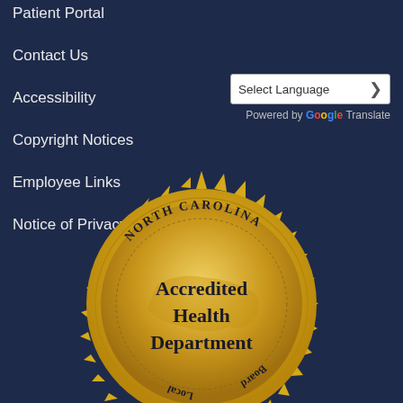Patient Portal
Contact Us
Accessibility
Copyright Notices
Employee Links
Notice of Privacy Practice
[Figure (illustration): North Carolina Accredited Local Health Department Board seal — gold starburst medallion with text 'NORTH CAROLINA' curved at top, 'Accredited Health Department' in center, 'Local' on left side, 'Board' on right side, NC state silhouette in background]
Select Language | Powered by Google Translate